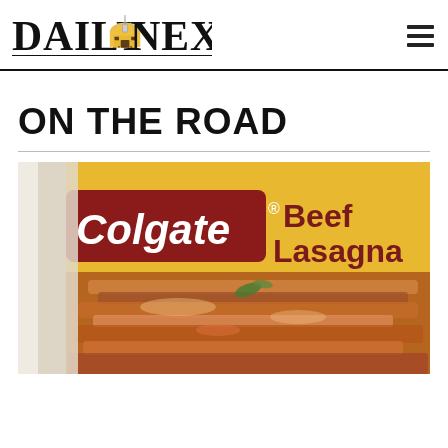DAILY NEXUS
ON THE ROAD
[Figure (photo): Photo of a Colgate-branded Beef Lasagna frozen food box, showing lasagna dish with tomato sauce and herbs on the packaging.]